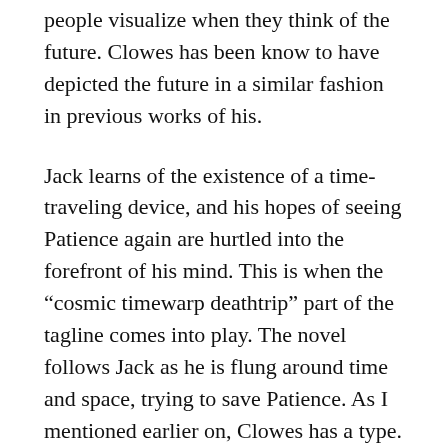people visualize when they think of the future. Clowes has been know to have depicted the future in a similar fashion in previous works of his.
Jack learns of the existence of a time-traveling device, and his hopes of seeing Patience again are hurtled into the forefront of his mind. This is when the “cosmic timewarp deathtrip” part of the tagline comes into play. The novel follows Jack as he is flung around time and space, trying to save Patience. As I mentioned earlier on, Clowes has a type. His protagonists are lonely, self-loathing creatures who have an ego. Jack is no different, and it becomes unclear at times what his true motives are in